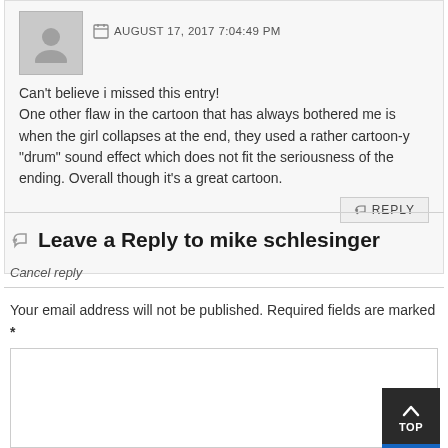[Figure (illustration): User avatar placeholder with grey silhouette icon]
AUGUST 17, 2017 7:04:49 PM
Can't believe i missed this entry! One other flaw in the cartoon that has always bothered me is when the girl collapses at the end, they used a rather cartoon-y "drum" sound effect which does not fit the seriousness of the ending. Overall though it's a great cartoon.
REPLY
Leave a Reply to mike schlesinger
Cancel reply
Your email address will not be published. Required fields are marked *